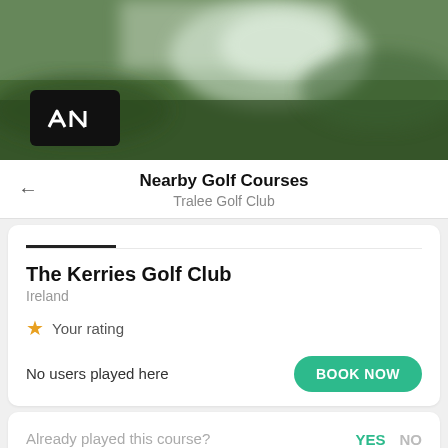[Figure (photo): Blurred golf course landscape hero image with green and sky tones. A black logo badge with white geometric logo mark is overlaid at bottom-left.]
Nearby Golf Courses
Tralee Golf Club
The Kerries Golf Club
Ireland
★ Your rating
No users played here
BOOK NOW
Already played this course?
YES   NO